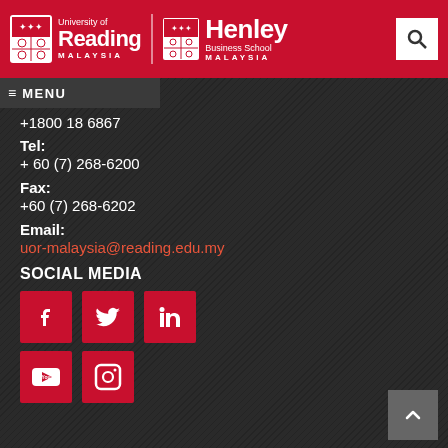[Figure (logo): University of Reading Malaysia and Henley Business School Malaysia header logos with red background and search icon]
+1800 18 6867
Tel:
+ 60 (7) 268-6200
Fax:
+60 (7) 268-6202
Email:
uor-malaysia@reading.edu.my
SOCIAL MEDIA
[Figure (illustration): Social media icons: Facebook, Twitter, LinkedIn, YouTube, Instagram on red square backgrounds]